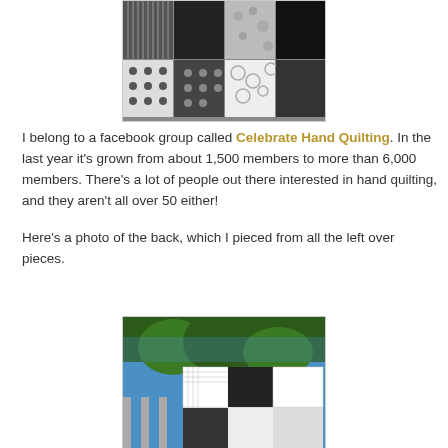[Figure (photo): Black and white patchwork quilt squares arranged in a grid pattern, showing various fabric textures including stripes, dots, florals, and solid black patches.]
I belong to a facebook group called Celebrate Hand Quilting. In the last year it's grown from about 1,500 members to more than 6,000 members. There's a lot of people out there interested in hand quilting, and they aren't all over 50 either!
Here's a photo of the back, which I pieced from all the left over pieces.
[Figure (photo): Photo of the back of a black and white quilt hanging outdoors on a fence with blue sky and trees in the background.]